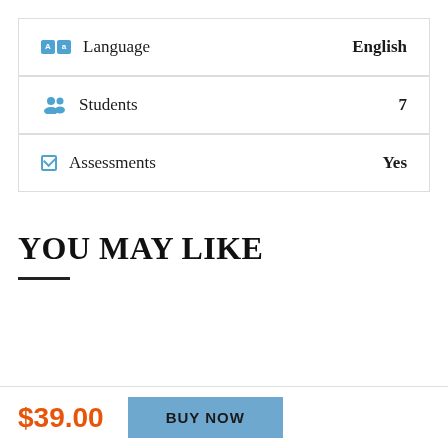|  | Label | Value |
| --- | --- | --- |
| [lang icon] | Language | English |
| [students icon] | Students | 7 |
| [checkbox icon] | Assessments | Yes |
YOU MAY LIKE
$39.00
BUY NOW